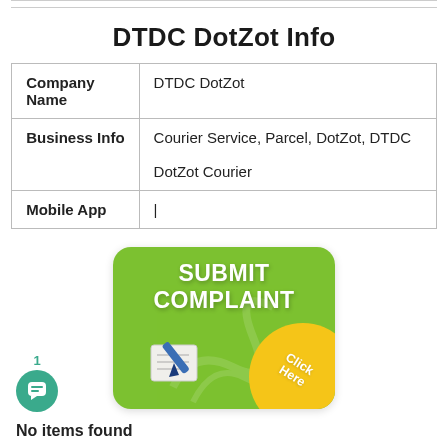DTDC DotZot Info
|  |  |
| --- | --- |
| Company Name | DTDC DotZot |
| Business Info | Courier Service, Parcel, DotZot, DTDC DotZot Courier |
| Mobile App | | |
[Figure (illustration): Green rounded rectangle button with 'SUBMIT COMPLAINT' text in white bold font, a pen and paper icon, and a yellow arc in the bottom-right corner with 'Click Here' text.]
No items found